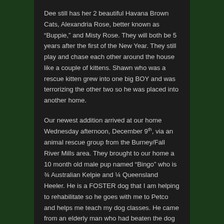Dee still has her 2 beautiful Havana Brown Cats, Alexandria Rose, better known as “Buppie,” and Misty Rose. They will both be 5 years after the first of the New Year. They still play and chase each other around the house like a couple of kittens. Shawn who was a rescue kitten grew into one big BOY and was terrorizing the other two so he was placed into another home.
Our newest addition arrived at our home Wednesday afternoon, December 9th, via an animal rescue group from the Burney/Fall River Mills area. They brought to our home a 10 month old male pup named “Bingo” who is ¾ Australian Kelpie and ¼ Queensland Heeler. He is a FOSTER dog that I am helping to rehabilitate so he goes with me to Petco and helps me teach my dog classes. He came from an elderly man who had beaten the dog and threw him outside in 6 below zero weather. He had no fenced in yard in the mountains and the dog was often found running along the side of the roads and freeway. He was terribly mistreated and the rescue group had been trying to get the man to surrender the dog to them for